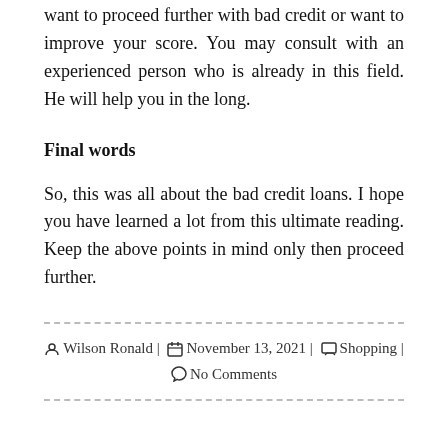want to proceed further with bad credit or want to improve your score. You may consult with an experienced person who is already in this field. He will help you in the long.
Final words
So, this was all about the bad credit loans. I hope you have learned a lot from this ultimate reading. Keep the above points in mind only then proceed further.
Wilson Ronald | November 13, 2021 | Shopping | No Comments